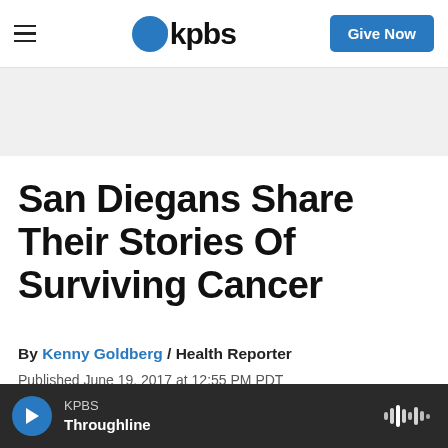KPBS — Give Now
[Figure (logo): KPBS logo with blue speech bubble icon and bold 'kpbs' wordmark]
San Diegans Share Their Stories Of Surviving Cancer
By Kenny Goldberg / Health Reporter
Published June 19, 2017 at 12:55 PM PDT
KPBS Throughline — audio player bar